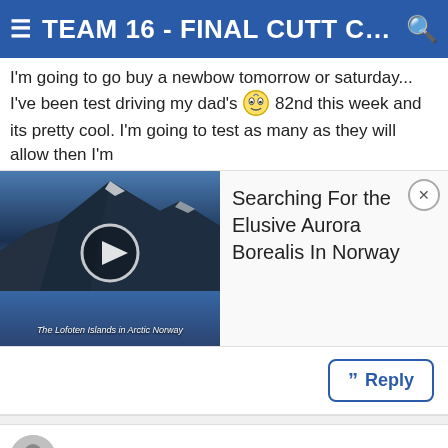≡ TEAM 16 - FINAL CUTT CHEC... 🔍
I'm going to go buy a newbow tomorrow or saturday... I've been test driving my dad's 🤡 82nd this week and its pretty cool. I'm going to test as many as they will allow then I'm
[Figure (screenshot): Video thumbnail showing aerial view of Lofoten Islands in Arctic Norway with play button overlay, and ad panel reading 'Searching For the Elusive Aurora Borealis In Norway' with close X button]
Reply
#19
NC hunter , 03-13-2008 08:42 PM
Fork Horn
RE: TEAM 16 CHECK IN....
In a covert cerimony at midnight tomorrow night if no objections-u da Prez.
If u like "Final Cutt" and no one objects at that time make it